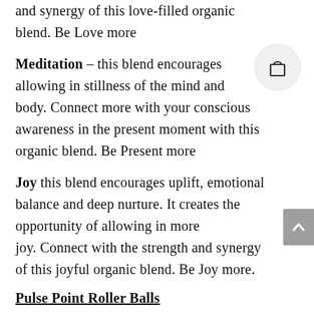and synergy of this love-filled organic blend.  Be Love more
Meditation – this blend encourages allowing in stillness of the mind and body. Connect more with your conscious awareness in the present moment with this organic blend. Be Present more
Joy this blend encourages uplift, emotional balance and deep nurture. It creates the opportunity of allowing in more joy. Connect with the strength and synergy of this joyful organic blend.   Be Joy more.
Pulse Point Roller Balls